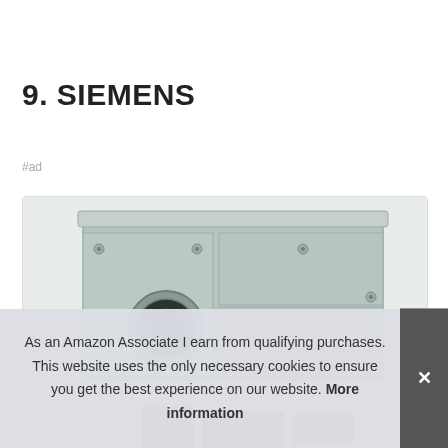9. SIEMENS
#ad
[Figure (photo): Siemens electrical meter/panel box, light gray metal enclosure with multiple compartments and a circular meter socket]
As an Amazon Associate I earn from qualifying purchases. This website uses the only necessary cookies to ensure you get the best experience on our website. More information